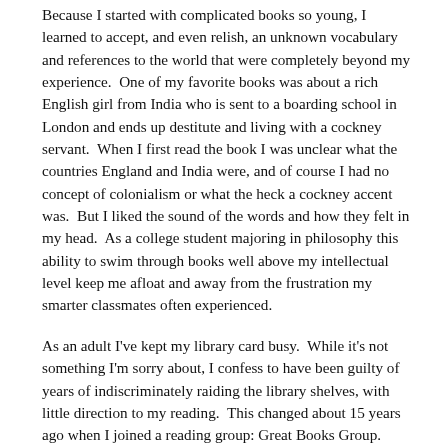Because I started with complicated books so young, I learned to accept, and even relish, an unknown vocabulary and references to the world that were completely beyond my experience.  One of my favorite books was about a rich English girl from India who is sent to a boarding school in London and ends up destitute and living with a cockney servant.  When I first read the book I was unclear what the countries England and India were, and of course I had no concept of colonialism or what the heck a cockney accent was.  But I liked the sound of the words and how they felt in my head.  As a college student majoring in philosophy this ability to swim through books well above my intellectual level keep me afloat and away from the frustration my smarter classmates often experienced.
As an adult I've kept my library card busy.  While it's not something I'm sorry about, I confess to have been guilty of years of indiscriminately raiding the library shelves, with little direction to my reading.  This changed about 15 years ago when I joined a reading group: Great Books Group.  What a revelation!  Reading, once a solitary act, is now a practice I share with other insightful and generous readers.  Our group, which meets bi-weekly at the (wait for it now) library, has been around for over forty years.  While sadly we've lost members to age and infirmity, our co-